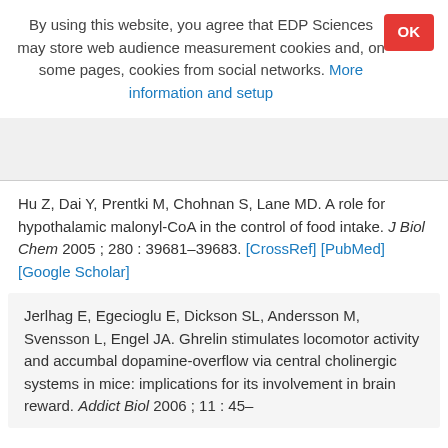By using this website, you agree that EDP Sciences may store web audience measurement cookies and, on some pages, cookies from social networks. More information and setup
Hu Z, Dai Y, Prentki M, Chohnan S, Lane MD. A role for hypothalamic malonyl-CoA in the control of food intake. J Biol Chem 2005 ; 280 : 39681–39683. [CrossRef] [PubMed] [Google Scholar]
Jerlhag E, Egecioglu E, Dickson SL, Andersson M, Svensson L, Engel JA. Ghrelin stimulates locomotor activity and accumbal dopamine-overflow via central cholinergic systems in mice: implications for its involvement in brain reward. Addict Biol 2006 ; 11 : 45–